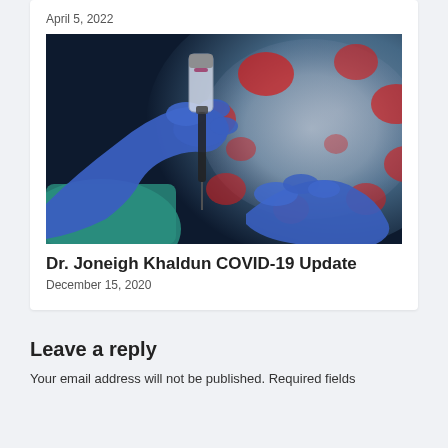April 5, 2022
[Figure (photo): Blue-gloved hands holding a vaccine vial and syringe against a blurred coronavirus particle background with red spikes]
Dr. Joneigh Khaldun COVID-19 Update
December 15, 2020
Leave a reply
Your email address will not be published. Required fields